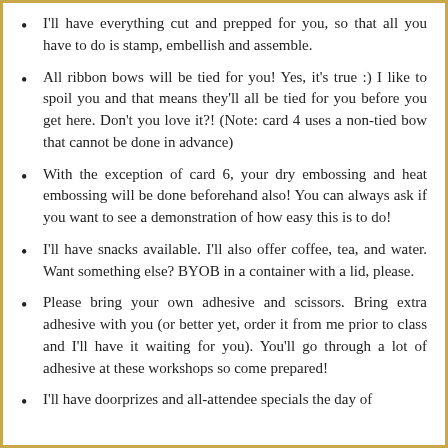I'll have everything cut and prepped for you, so that all you have to do is stamp, embellish and assemble.
All ribbon bows will be tied for you! Yes, it's true :) I like to spoil you and that means they'll all be tied for you before you get here. Don't you love it?! (Note: card 4 uses a non-tied bow that cannot be done in advance)
With the exception of card 6, your dry embossing and heat embossing will be done beforehand also! You can always ask if you want to see a demonstration of how easy this is to do!
I'll have snacks available. I'll also offer coffee, tea, and water. Want something else? BYOB in a container with a lid, please.
Please bring your own adhesive and scissors. Bring extra adhesive with you (or better yet, order it from me prior to class and I'll have it waiting for you). You'll go through a lot of adhesive at these workshops so come prepared!
I'll have doorprizes and all-attendee specials the day of